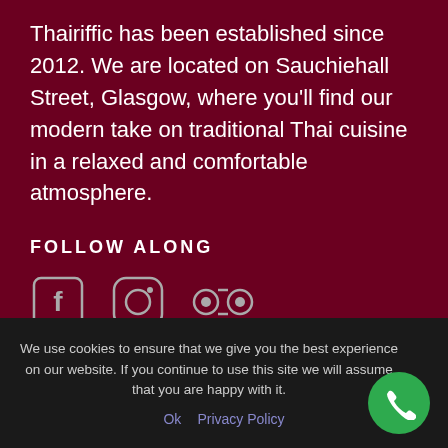Thairiffic has been established since 2012. We are located on Sauchiehall Street, Glasgow, where you'll find our modern take on traditional Thai cuisine in a relaxed and comfortable atmosphere.
FOLLOW ALONG
[Figure (illustration): Social media icons: Facebook, Instagram, TripAdvisor]
NEWSLETTER
We use cookies to ensure that we give you the best experience on our website. If you continue to use this site we will assume that you are happy with it.
Ok   Privacy Policy